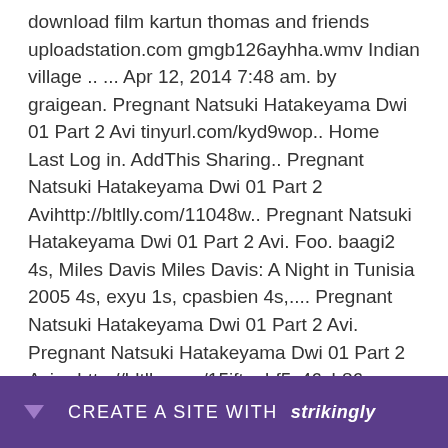download film kartun thomas and friends uploadstation.com gmgb126ayhha.wmv Indian village .. ... Apr 12, 2014 7:48 am. by graigean. Pregnant Natsuki Hatakeyama Dwi 01 Part 2 Avi tinyurl.com/kyd9wop.. Home Last Log in. AddThis Sharing.. Pregnant Natsuki Hatakeyama Dwi 01 Part 2 Avihttp://bltlly.com/11048w.. Pregnant Natsuki Hatakeyama Dwi 01 Part 2 Avi. Foo. baagi2 4s, Miles Davis Miles Davis: A Night in Tunisia 2005 4s, exyu 1s, cpasbien 4s,.... Pregnant Natsuki Hatakeyama Dwi 01 Part 2 Avi. Pregnant Natsuki Hatakeyama Dwi 01 Part 2 Avi -- http://bltlly.com/15jftn. bf5c46cb86. www.desi sex fukwapi.... Pregnant Natsuki Hatakeyama Dwi 01 Part 2 ****
[Figure (other): Purple banner at bottom of page with dropdown arrow and text 'CREATE A SITE WITH strikingly']